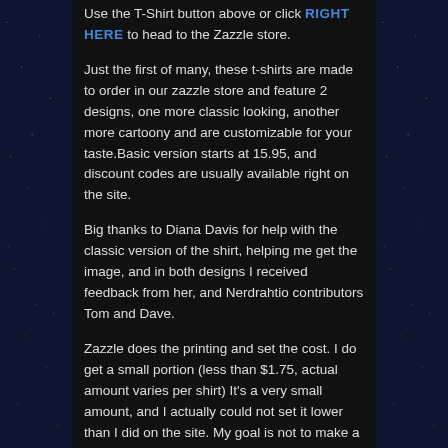Use the T-Shirt button above or click RIGHT HERE to head to the Zazzle store.
Just the first of many, these t-shirts are made to order in our zazzle store and feature 2 designs, one more classic looking, another more cartoony and are customizable for your taste.Basic version starts at 15.95, and discount codes are usually available right on the site.
Big thanks to Diana Davis for help with the classic version of the shirt, helping me get the image, and in both designs I received feedback from her, and Nerdrahtio contributors Tom and Dave.
Zazzle does the printing and set the cost. I do get a small portion (less than $1.75, actual amount varies per shirt) It's a very small amount, and I actually could not set it lower than I did on the site. My goal is not to make a net profit, just to be closer to breaking even on the site. That portion will be used to cover audio hosting, website fees, as well as cover expenses already put toward the site (and due to some issues when switching to the Nerdrahtio